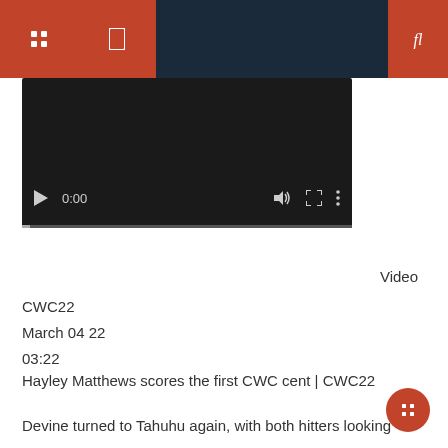[Figure (screenshot): Video player showing 0:00 timestamp with play button, volume icon, fullscreen icon, and more options icon on a dark background with a progress bar at the bottom.]
Video
CWC22
March 04 22
03:22
Hayley Matthews scores the first CWC cent | CWC22
Devine turned to Tahuhu again, with both hitters looking